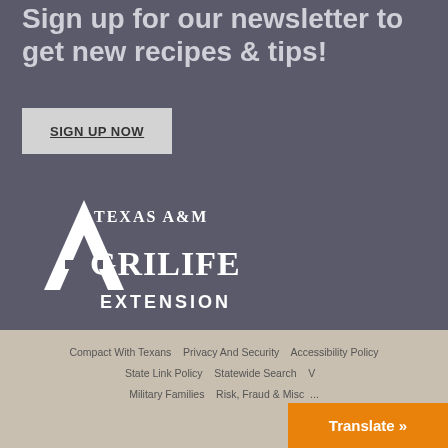Sign up for our newsletter to get new recipes & tips!
SIGN UP NOW
[Figure (logo): Texas A&M AgriLife Extension logo in white on gray background]
Compact With Texans   Privacy And Security   Accessibility Policy   State Link Policy   Statewide Search   V...   Military Families   Risk, Fraud & Misc...
Translate »